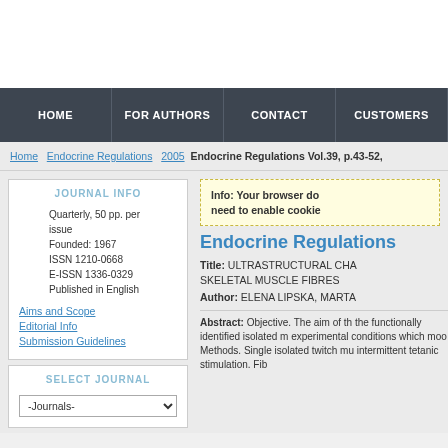HOME | FOR AUTHORS | CONTACT | CUSTOMERS
Home > Endocrine Regulations > 2005 > Endocrine Regulations Vol.39, p.43-52,
JOURNAL INFO
Quarterly, 50 pp. per issue
Founded: 1967
ISSN 1210-0668
E-ISSN 1336-0329
Published in English
Aims and Scope
Editorial Info
Submission Guidelines
SELECT JOURNAL
-Journals-
Info: Your browser do need to enable cookie
Endocrine Regulations
Title: ULTRASTRUCTURAL CHA SKELETAL MUSCLE FIBRES
Author: ELENA LIPSKA, MARTA
Abstract: Objective. The aim of th the functionally identified isolated m experimental conditions which moo Methods. Single isolated twitch mu intermittent tetanic stimulation. Fib